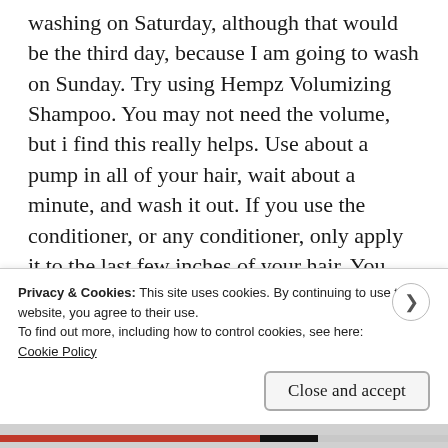washing on Saturday, although that would be the third day, because I am going to wash on Sunday. Try using Hempz Volumizing Shampoo. You may not need the volume, but i find this really helps. Use about a pump in all of your hair, wait about a minute, and wash it out. If you use the conditioner, or any conditioner, only apply it to the last few inches of your hair. You should not be using it in the area around the crow of your head, that is too close to the roots. I hope this advice helps. It is what really helped me! Good luck!
Privacy & Cookies: This site uses cookies. By continuing to use this website, you agree to their use.
To find out more, including how to control cookies, see here:
Cookie Policy
Close and accept